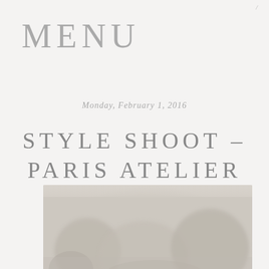/
MENU
Monday, February 1, 2016
STYLE SHOOT – PARIS ATELIER D'ARTISTE
[Figure (photo): Soft-focus outdoor photograph, likely trees or foliage in a muted, light grey-beige palette]